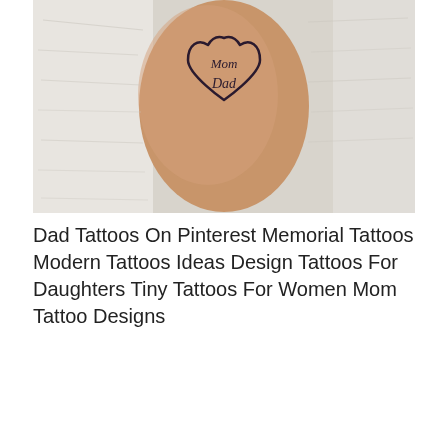[Figure (photo): Close-up photo of a wrist/forearm with a tattoo showing a heart outline containing the words 'Mom' and 'Dad' in cursive script. The skin is light-toned and the background shows a white fabric.]
Dad Tattoos On Pinterest Memorial Tattoos Modern Tattoos Ideas Design Tattoos For Daughters Tiny Tattoos For Women Mom Tattoo Designs